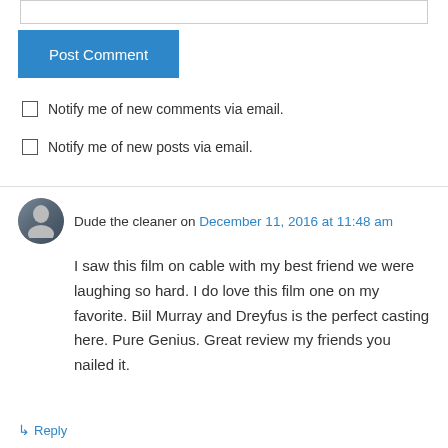[input field]
Post Comment
Notify me of new comments via email.
Notify me of new posts via email.
Dude the cleaner on December 11, 2016 at 11:48 am
I saw this film on cable with my best friend we were laughing so hard. I do love this film one on my favorite. Biil Murray and Dreyfus is the perfect casting here. Pure Genius. Great review my friends you nailed it.
↳ Reply